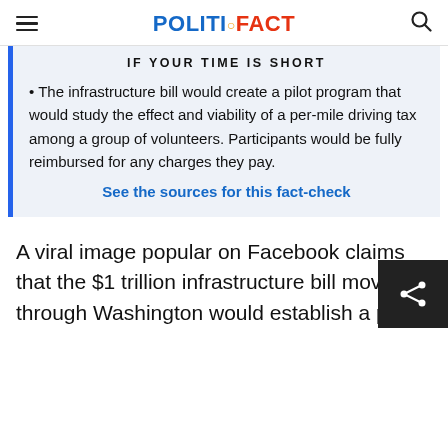POLITIFACT
IF YOUR TIME IS SHORT
The infrastructure bill would create a pilot program that would study the effect and viability of a per-mile driving tax among a group of volunteers. Participants would be fully reimbursed for any charges they pay.
See the sources for this fact-check
A viral image popular on Facebook claims that the $1 trillion infrastructure bill moving through Washington would establish a per-